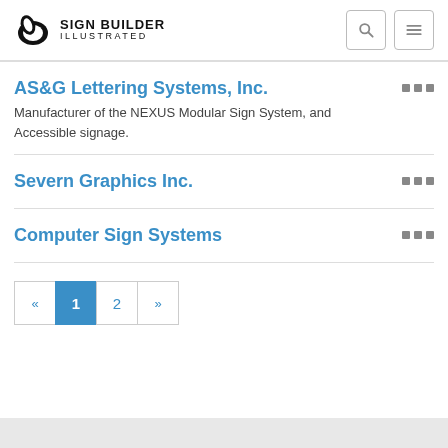Sign Builder Illustrated
AS&G Lettering Systems, Inc. — Manufacturer of the NEXUS Modular Sign System, and Accessible signage.
Severn Graphics Inc.
Computer Sign Systems
« 1 2 »